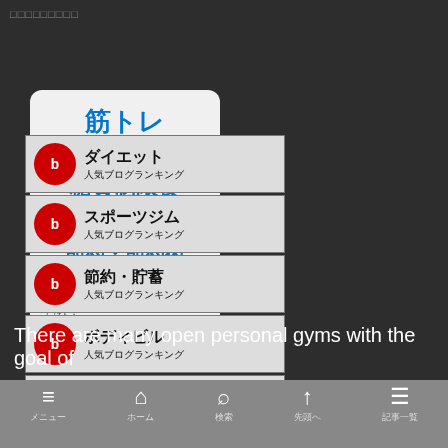□□□□□□□□□
[Figure (illustration): Four white rounded rectangle badges stacked vertically on dark background. First three have blue Japanese text (筋トレ, 糖質制限食, 節約・節約術) with red arc at bottom. Fourth is a ブログ村 (blog village) badge with black Japanese text and red arc.]
[Figure (illustration): Five ranking badge buttons stacked vertically, each with red circle icon on left and black Japanese text on right: ダイエット人気ブログランキング, スポーツジム人気ブログランキング, 節約・貯蓄人気ブログランキング, ボディビル人気ブログランキング, 筋力トレーニング人気ブログランキング]
There are many open personal gyms with the goal of
≡  🏠  🔍  ↑  ≡  メニュー  ホーム  検索  先頭へ  記事一覧